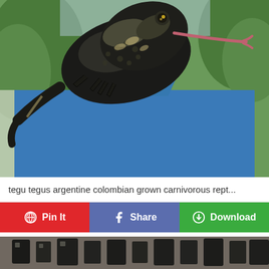[Figure (photo): A large black and grey tegu lizard sitting on the shoulder/upper back of a person wearing a blue t-shirt, with its long pink tongue extended. Green foliage visible in the background.]
tegu tegus argentine colombian grown carnivorous rept...
[Figure (other): Partial bottom image showing dark objects, likely another photo preview.]